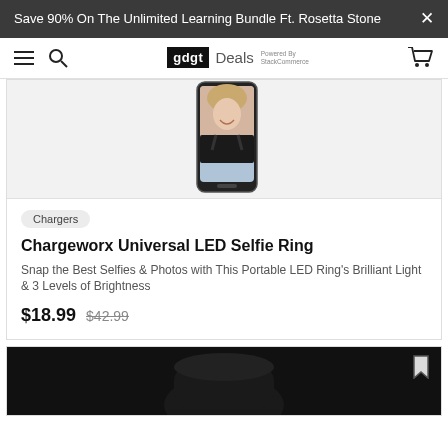Save 90% On The Unlimited Learning Bundle Ft. Rosetta Stone
[Figure (screenshot): gdgt Deals navigation bar with hamburger menu, search icon, gdgt Deals logo powered by StackCommerce, and cart icon]
[Figure (photo): Partial product image showing a smartphone with a woman taking a selfie displayed on screen, against white background]
Chargers
Chargeworx Universal LED Selfie Ring
Snap the Best Selfies & Photos with This Portable LED Ring's Brilliant Light & 3 Levels of Brightness
$18.99  $42.99
[Figure (photo): Partial product image showing a black device, partially visible at bottom of page, with a bookmark icon in top right corner]